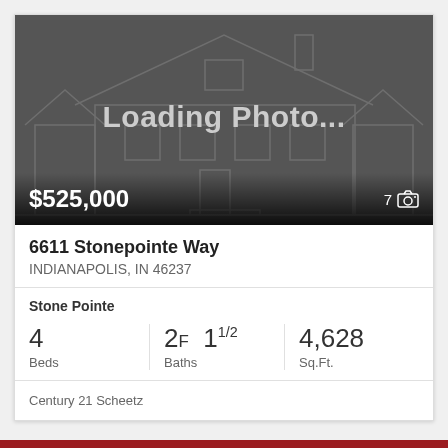[Figure (photo): Loading photo placeholder with dark background showing outline of a house and text 'Loading Photo...']
6611 Stonepointe Way
INDIANAPOLIS, IN 46237
Stone Pointe
| Beds | Baths | Sq.Ft. |
| --- | --- | --- |
| 4 | 2F 11/2 | 4,628 |
Century 21 Scheetz